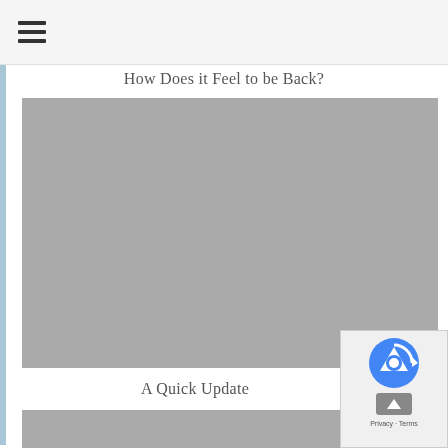☰ (hamburger menu icon)
How Does it Feel to be Back?
[Figure (photo): Large gray placeholder image for a blog post photo]
A Quick Update
[Figure (photo): Partial gray placeholder image for a second blog post photo]
[Figure (other): reCAPTCHA / privacy badge overlay in bottom-right corner with Privacy and Terms text]